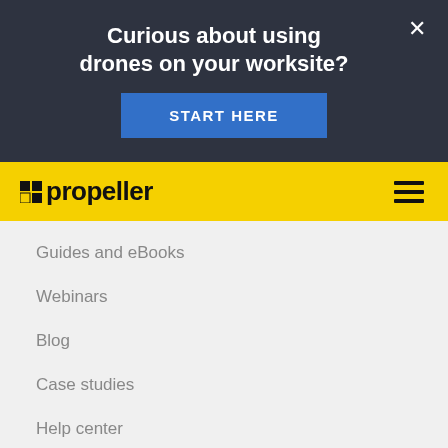Curious about using drones on your worksite?
START HERE
[Figure (logo): Propeller logo on yellow navigation bar with hamburger menu icon]
Guides and eBooks
Webinars
Blog
Case studies
Help center